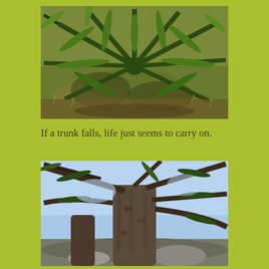[Figure (photo): Aerial-like close-up photo of an Araucaria (monkey puzzle) tree with spiky radiating branches and needles, viewed from above, surrounded by dry grass and scrubland ground.]
If a trunk falls, life just seems to carry on.
[Figure (photo): Photo looking up through the branches of a large Araucaria (monkey puzzle) tree, showing the thick gnarled trunk and radiating branches with spiky needles against a blue sky.]